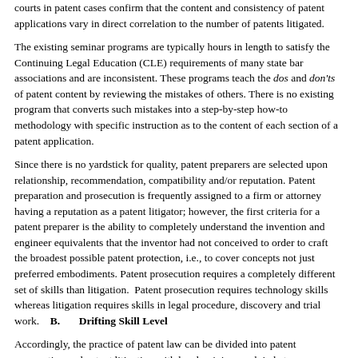courts in patent cases confirm that the content and consistency of patent applications vary in direct correlation to the number of patents litigated.
The existing seminar programs are typically hours in length to satisfy the Continuing Legal Education (CLE) requirements of many state bar associations and are inconsistent. These programs teach the dos and don'ts of patent content by reviewing the mistakes of others. There is no existing program that converts such mistakes into a step-by-step how-to methodology with specific instruction as to the content of each section of a patent application.
Since there is no yardstick for quality, patent preparers are selected upon relationship, recommendation, compatibility and/or reputation. Patent preparation and prosecution is frequently assigned to a firm or attorney having a reputation as a patent litigator; however, the first criteria for a patent preparer is the ability to completely understand the invention and engineer equivalents that the inventor had not conceived to order to craft the broadest possible patent protection, i.e., to cover concepts not just preferred embodiments. Patent prosecution requires a completely different set of skills than litigation. Patent prosecution requires technology skills whereas litigation requires skills in legal procedure, discovery and trial work.
B. Drifting Skill Level
Accordingly, the practice of patent law can be divided into patent prosecution and patent litigation with legal opinion work in between. Patent